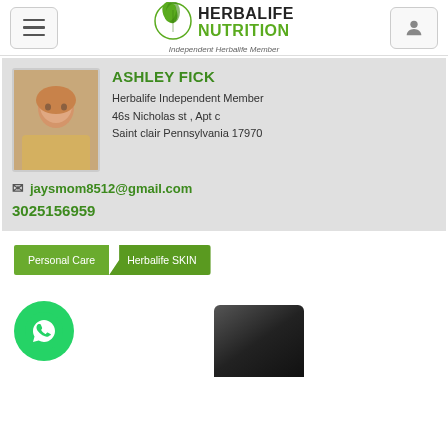[Figure (logo): Herbalife Nutrition logo with green leaf emblem and 'Independent Herbalife Member' text]
ASHLEY FICK
Herbalife Independent Member
46s Nicholas st , Apt c
Saint clair Pennsylvania 17970
jaysmom8512@gmail.com
3025156959
Personal Care  >  Herbalife SKIN
[Figure (photo): WhatsApp icon circle (green) and partial product image (black jar/cap)]